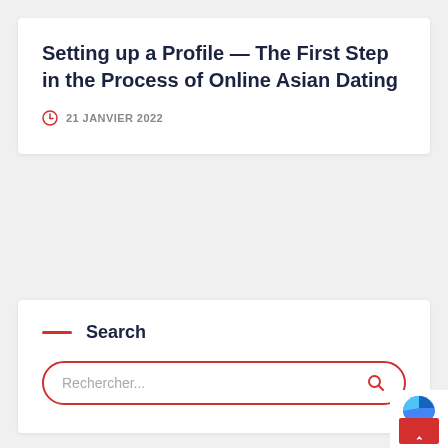Setting up a Profile — The First Step in the Process of Online Asian Dating
21 JANVIER 2022
Search
Rechercher...